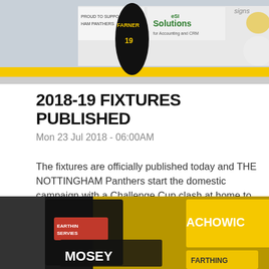[Figure (photo): Ice hockey player in a Nottingham Panthers jersey (#19 FARNER) on the rink, sponsor boards visible in background including Solutions, Blueprint, and other sponsors.]
2018-19 FIXTURES PUBLISHED
Mon 23 Jul 2018 - 06:00AM
The fixtures are officially published today and THE NOTTINGHAM Panthers start the domestic campaign with a Challenge Cup clash at home to Sheffield!
READ MORE
[Figure (photo): Packaged ice hockey jerseys with names visible including ACHOWIG, MOSEY, and FARTHING branding. Black and yellow/gold Nottingham Panthers merchandise.]